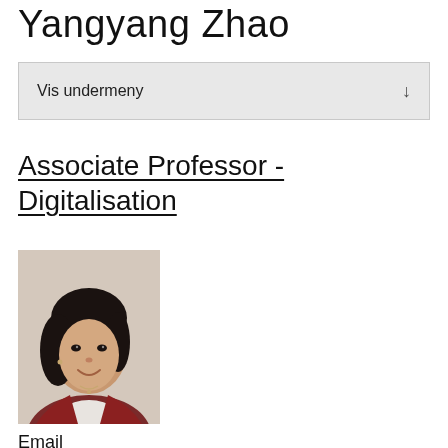Yangyang Zhao
Vis undermeny
Associate Professor - Digitalisation
[Figure (photo): Professional headshot of Yangyang Zhao, a woman with dark hair, smiling, wearing a dark red cardigan over a white top.]
Email